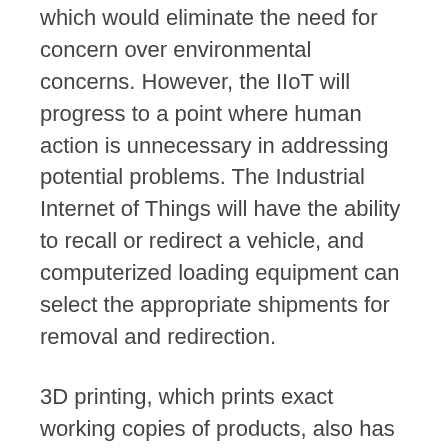which would eliminate the need for concern over environmental concerns. However, the IIoT will progress to a point where human action is unnecessary in addressing potential problems. The Industrial Internet of Things will have the ability to recall or redirect a vehicle, and computerized loading equipment can select the appropriate shipments for removal and redirection.
3D printing, which prints exact working copies of products, also has the potential to make a significant impact on the 3PL industry. Manufacturers and retailers may soon choose to ship raw materials instead